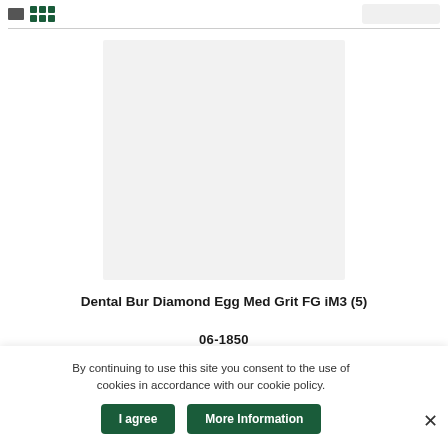[Figure (photo): Product image placeholder — light gray square representing a dental bur product photo]
Dental Bur Diamond Egg Med Grit FG iM3 (5)
06-1850
By continuing to use this site you consent to the use of cookies in accordance with our cookie policy.